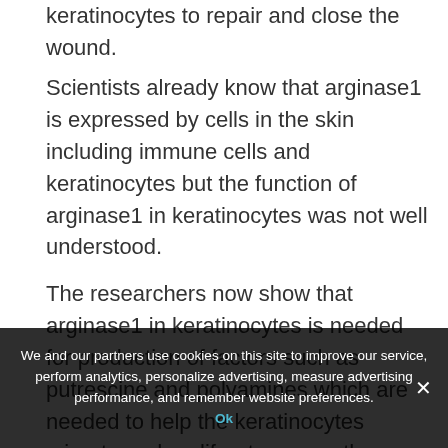keratinocytes to repair and close the wound.
Scientists already know that arginase1 is expressed by cells in the skin including immune cells and keratinocytes but the function of arginase1 in keratinocytes was not well understood.
The researchers now show that arginase1 in keratinocytes is needed for production of factors such as putrescine and polyamines which are needed to help the keratinocytes migrate and proliferate across the wound to heal it. Targeting arginase1 as well as these downstream products with supplements restored
that wounds healed more quickly.
Lead author Professor Sheena Cruikshank from The University of Manchester said that the...
We and our partners use cookies on this site to improve our service, perform analytics, personalize advertising, measure advertising performance, and remember website preferences.